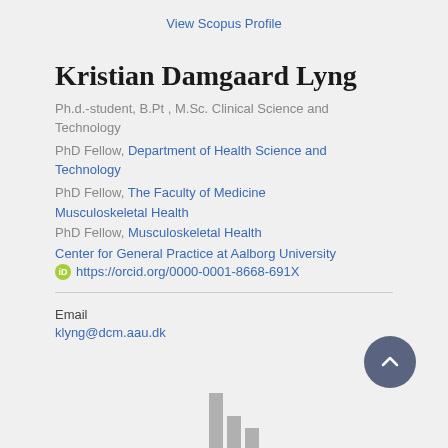View Scopus Profile
Kristian Damgaard Lyng
Ph.d.-student, B.Pt , M.Sc. Clinical Science and Technology
PhD Fellow, Department of Health Science and Technology
PhD Fellow, The Faculty of Medicine
Musculoskeletal Health
PhD Fellow, Musculoskeletal Health
Center for General Practice at Aalborg University
https://orcid.org/0000-0001-8668-691X
Email
klyng@dcm.aau.dk
[Figure (bar-chart): Partial bar chart visible at bottom of page]